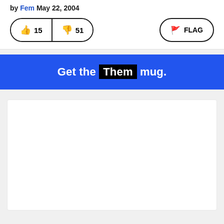by Fem May 22, 2004
[Figure (other): Thumbs up button with count 15, thumbs down button with count 51, and a FLAG button on the right]
Get the Them mug.
[Figure (other): White rectangular advertisement area]